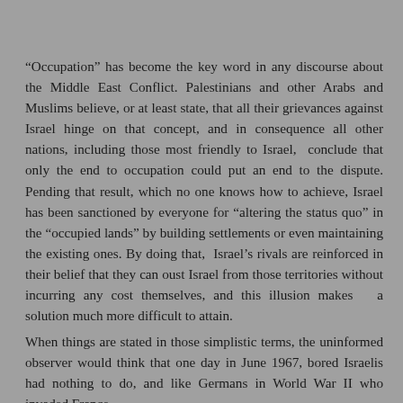“Occupation” has become the key word in any discourse about the Middle East Conflict. Palestinians and other Arabs and Muslims believe, or at least state, that all their grievances against Israel hinge on that concept, and in consequence all other nations, including those most friendly to Israel, conclude that only the end to occupation could put an end to the dispute. Pending that result, which no one knows how to achieve, Israel has been sanctioned by everyone for “altering the status quo” in the “occupied lands” by building settlements or even maintaining the existing ones. By doing that, Israel’s rivals are reinforced in their belief that they can oust Israel from those territories without incurring any cost themselves, and this illusion makes a solution much more difficult to attain.
When things are stated in those simplistic terms, the uninformed observer would think that one day in June 1967, bored Israelis had nothing to do, and like Germans in World War II who invaded France, simply decided to ‘fix’ Arab lands. Somehow, Israel’s